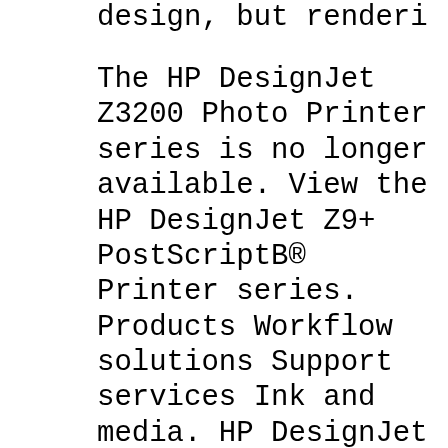design, but renderings, proofing and
The HP DesignJet Z3200 Photo Printer series is no longer available. View the HP DesignJet Z9+ PostScriptB® Printer series. Products Workflow solutions Support services Ink and media. HP DesignJet Z3200 Photo Printer series. The HP DesignJet Z3200 Photo Printer series is no longer available. Thanks to the new HP DesignJet Z9+ Printer series, you can confidently deliver high quality вЂ¦ Contact your local HP Service Representative for service, see Contact HP Support on page 154. Use only the electrical cord supplied by HP with the printer. Do not damage, cut or repair the power cord. A damaged